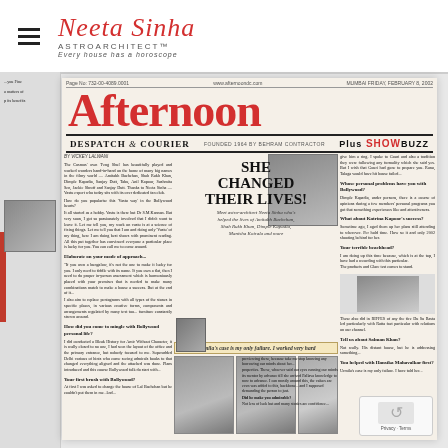Neeta Sinha ASTROARCHITECT™ Every house has a horoscope
[Figure (photo): Scanned newspaper page: Afternoon Despatch & Courier, Mumbai, Friday February 8 2002. Headline: SHE CHANGED THEIR LIVES! Meet astro-architect Neeta Sinha who's helped the lives of Amitabh Bachchan, Shah Rukh Khan, Dimple Kapadia, Manisha Koirala and more. Article by Vickey Lalwani. Pull quote: 'Urmila's case is my only failure. I worked very hard'. Multiple black and white photos of buildings and portrait of interviewee.]